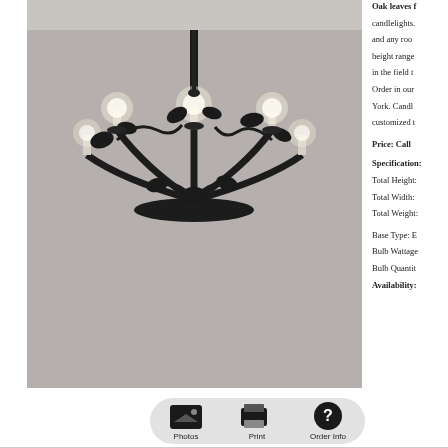[Figure (photo): A decorative chandelier with oak leaf motifs and candle-style lights, photographed from below against a neutral gray ceiling.]
[Figure (infographic): Button bar with three icon buttons: Photos (image icon), Print (printer icon), Order Info (question mark icon), on a light gray rounded rectangle background.]
Oak leaves f... candlelights. and any roo... height range... in the field t... Order in our... York. Candl... customized t...
Price: Call
Specification:
Total Height:
Total Width:
Total Weight:
Base Type: E...
Bulb Wattage...
Bulb Quantit...
Availability: